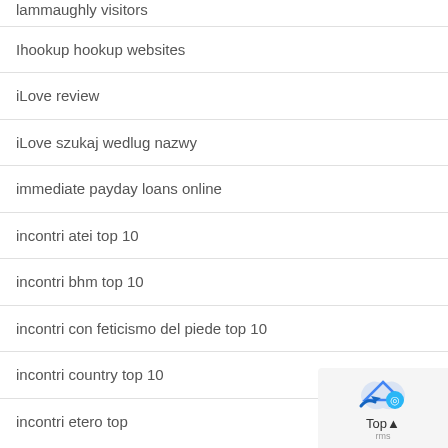Ihookup hookup websites
iLove review
iLove szukaj wedlug nazwy
immediate payday loans online
incontri atei top 10
incontri bhm top 10
incontri con feticismo del piede top 10
incontri country top 10
incontri etero top